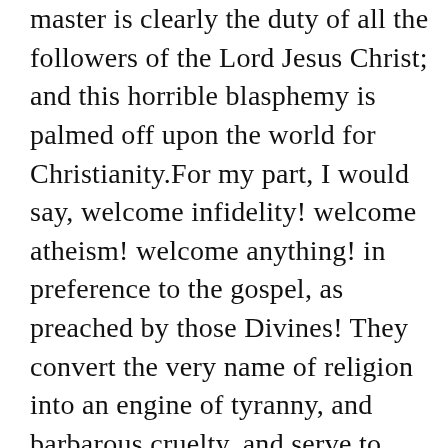master is clearly the duty of all the followers of the Lord Jesus Christ; and this horrible blasphemy is palmed off upon the world for Christianity.For my part, I would say, welcome infidelity! welcome atheism! welcome anything! in preference to the gospel, as preached by those Divines! They convert the very name of religion into an engine of tyranny, and barbarous cruelty, and serve to confirm more infidels, in this age, than all the infidel writings of Thomas Paine, Voltaire, and Bolingbroke, put together, have done! These ministers make religion a cold and flinty-hearted thing, having neither principles of right action, nor bowels of compassion. They strip the love of God of its beauty, and leave the throng of religion a huge, horrible, repulsive form. It is a religion for oppressors, tyrants, man-stealers, and thugs. It is not that “pure and undefiled religion” which is from above, and which is “first pure, then peaceable, easy to be entreated, full of mercy and good fruits, without